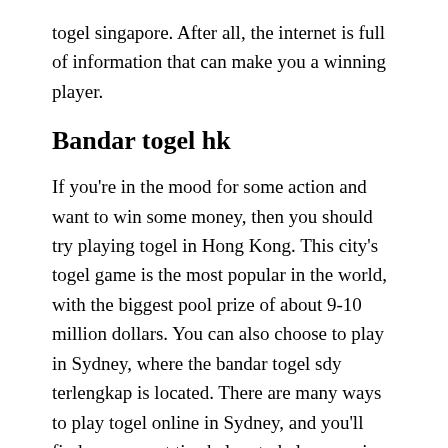togel singapore. After all, the internet is full of information that can make you a winning player.
Bandar togel hk
If you're in the mood for some action and want to win some money, then you should try playing togel in Hong Kong. This city's togel game is the most popular in the world, with the biggest pool prize of about 9-10 million dollars. You can also choose to play in Sydney, where the bandar togel sdy terlengkap is located. There are many ways to play togel online in Sydney, and you'll find some great tips below to help you win big!
First, you should check out the site's reputation. Many people think of Hongkong as a tourist destination, but this is not entirely true. The city is actually home to one